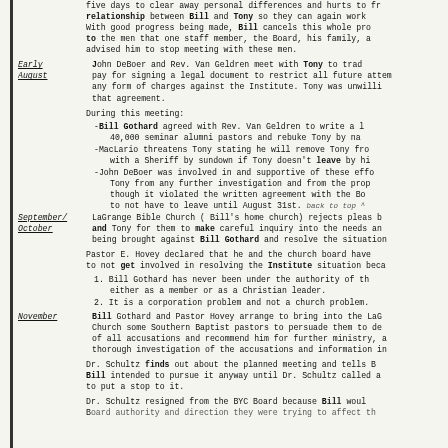five days to clear away personal differences and hurts to restore the relationship between Bill and Tony so they can again work together. With good progress being made, Bill cancels this whole process and tells the men that one staff member, the Board, his family, and others have advised him to stop meeting with these men.
Early August — John DeBoer and Rev. Van Geldren meet with Tony to trade pay for signing a legal document to restrict all future attempts to bring any form of charges against the Institute. Tony was unwilling to sign that agreement.
During this meeting:
-Bill Gothard agreed with Rev. Van Geldren to write a letter to 40,000 seminar alumni pastors and rebuke Tony by name.
-MacLario threatens Tony stating he will remove Tony from the property with a Sheriff by sundown if Tony doesn't leave by himself.
-John DeBoer was involved in and supportive of these efforts to stop Tony from any further investigation and from the property, even though it violated the written agreement with the Board for Tony to not have to leave until August 31st.
September/October — LaGrange Bible Church (Bill's home church) rejects pleas by and Tony for them to make careful inquiry into the needs and charges being brought against Bill Gothard and resolve the situation.
Pastor E. Hovey declared that he and the church board have decided to not get involved in resolving the Institute situation because:
1. Bill Gothard has never been under the authority of the church either as a member or as a Christian leader.
2. It is a corporation problem and not a church problem.
November — Bill Gothard and Pastor Hovey arrange to bring into the LaGrange Church some Southern Baptist pastors to persuade them to declare him clear of all accusations and recommend him for further ministry, despite a thorough investigation of the accusations and information in the files.
Dr. Schultz finds out about the planned meeting and tells Bill. Bill intended to pursue it anyway until Dr. Schultz called a meeting to put a stop to it.
Dr. Schultz resigned from the BYC Board because Bill would not allow the authority and direction they were trying to affect through the Board.